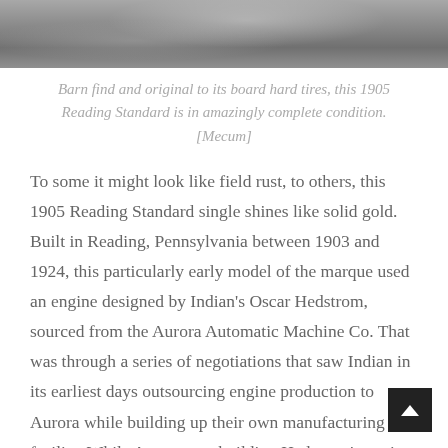[Figure (photo): Top portion of a photograph showing a vintage 1905 Reading Standard motorcycle, appearing weathered with field rust, on a gravel or stone surface.]
Barn find and original to its board hard tires, this 1905 Reading Standard is in amazingly complete condition. [Mecum]
To some it might look like field rust, to others, this 1905 Reading Standard single shines like solid gold. Built in Reading, Pennsylvania between 1903 and 1924, this particularly early model of the marque used an engine designed by Indian's Oscar Hedstrom, sourced from the Aurora Automatic Machine Co. That was through a series of negotiations that saw Indian in its earliest days outsourcing engine production to Aurora while building up their own manufacturing facility. While Aurora was building Hedstrom's engine, the company was allowed to sell the powerplant to other pioneering motorcycle manufacturers